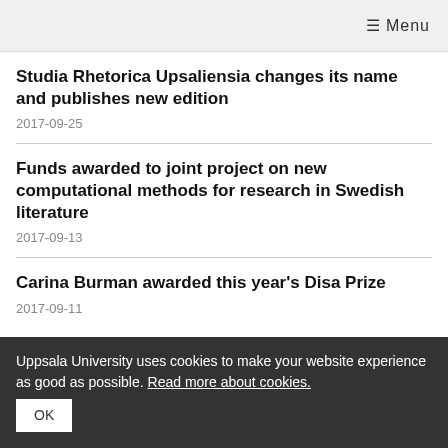☰ Menu
Studia Rhetorica Upsaliensia changes its name and publishes new edition
2017-09-25
Funds awarded to joint project on new computational methods for research in Swedish literature
2017-09-13
Carina Burman awarded this year's Disa Prize
2017-09-11
Uppsala University uses cookies to make your website experience as good as possible. Read more about cookies.